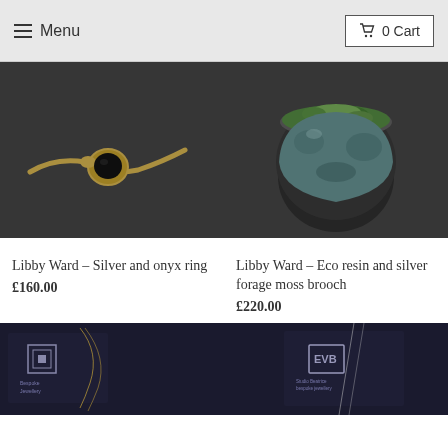Menu  0 Cart
[Figure (photo): A gold ring with a black onyx stone set in an ornate floral setting, photographed on a dark background]
Libby Ward – Silver and onyx ring
£160.00
[Figure (photo): A round eco resin and silver brooch with green forage moss growing from the top, photographed on a dark background]
Libby Ward – Eco resin and silver forage moss brooch
£220.00
[Figure (photo): A jewelry box with a logo and a delicate chain necklace arranged on dark fabric]
[Figure (photo): A jewelry box with a logo and fine silver chain necklace on dark fabric]